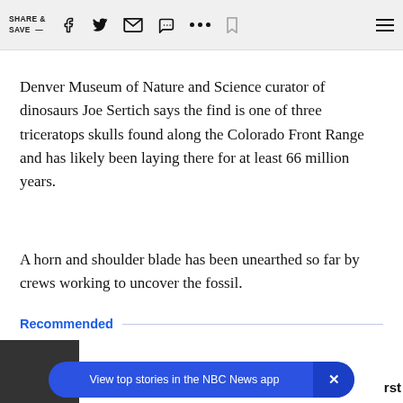SHARE & SAVE —
Denver Museum of Nature and Science curator of dinosaurs Joe Sertich says the find is one of three triceratops skulls found along the Colorado Front Range and has likely been laying there for at least 66 million years.
A horn and shoulder blade has been unearthed so far by crews working to uncover the fossil.
Recommended
[Figure (screenshot): Partial preview of a recommended article thumbnail with text 'time' and clipped 'rst' visible at right edge]
View top stories in the NBC News app